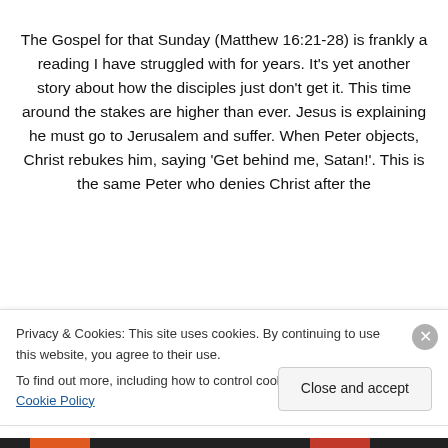The Gospel for that Sunday (Matthew 16:21-28) is frankly a reading I have struggled with for years. It’s yet another story about how the disciples just don’t get it. This time around the stakes are higher than ever. Jesus is explaining he must go to Jerusalem and suffer. When Peter objects, Christ rebukes him, saying ‘Get behind me, Satan!’. This is the same Peter who denies Christ after the
Privacy & Cookies: This site uses cookies. By continuing to use this website, you agree to their use.
To find out more, including how to control cookies, see here: Cookie Policy
Close and accept